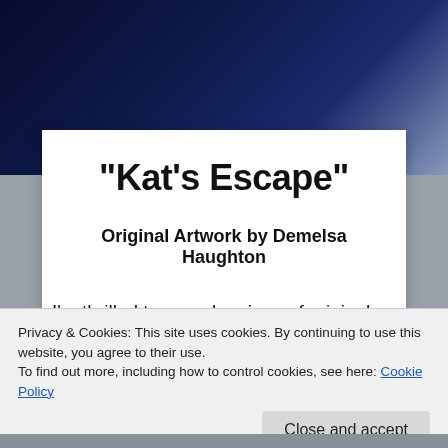“Kat’s Escape”
Original Artwork by Demelsa Haughton
I’m thrilled to reveal a piece of original artwork by the super talented artist, Demelsa Haughton inspired by the
Privacy & Cookies: This site uses cookies. By continuing to use this website, you agree to their use.
To find out more, including how to control cookies, see here: Cookie Policy
Close and accept